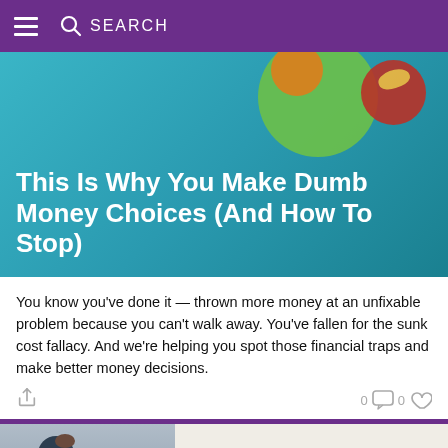SEARCH
This Is Why You Make Dumb Money Choices (And How To Stop)
You know you've done it — thrown more money at an unfixable problem because you can't walk away. You've fallen for the sunk cost fallacy. And we're helping you spot those financial traps and make better money decisions.
[Figure (photo): Woman with backpack and bandana headband, and text reading GOALS with three asterisks below]